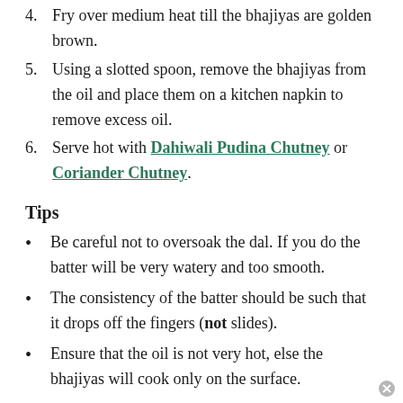4. Fry over medium heat till the bhajiyas are golden brown.
5. Using a slotted spoon, remove the bhajiyas from the oil and place them on a kitchen napkin to remove excess oil.
6. Serve hot with Dahiwali Pudina Chutney or Coriander Chutney.
Tips
Be careful not to oversoak the dal. If you do the batter will be very watery and too smooth.
The consistency of the batter should be such that it drops off the fingers (not slides).
Ensure that the oil is not very hot, else the bhajiyas will cook only on the surface.